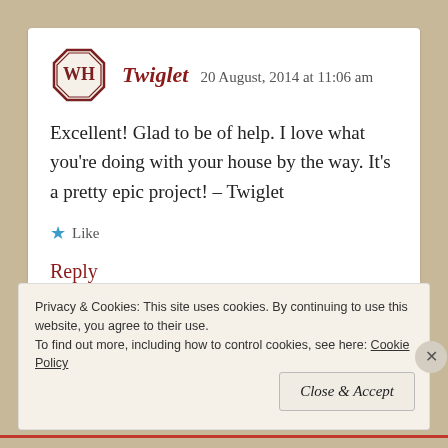[Figure (logo): WH octagonal badge logo in dark red/brown]
Twiglet   20 August, 2014 at 11:06 am
Excellent! Glad to be of help. I love what you're doing with your house by the way. It's a pretty epic project! – Twiglet
★ Like
Reply
Privacy & Cookies: This site uses cookies. By continuing to use this website, you agree to their use.
To find out more, including how to control cookies, see here: Cookie Policy
Close & Accept